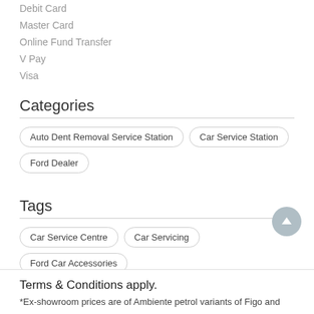Debit Card
Master Card
Online Fund Transfer
V Pay
Visa
Categories
Auto Dent Removal Service Station
Car Service Station
Ford Dealer
Tags
Car Service Centre
Car Servicing
Ford Car Accessories
Ford Service Centre
Terms & Conditions apply.
*Ex-showroom prices are of Ambiente petrol variants of Figo and